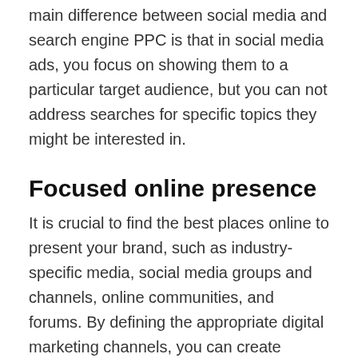main difference between social media and search engine PPC is that in social media ads, you focus on showing them to a particular target audience, but you can not address searches for specific topics they might be interested in.
Focused online presence
It is crucial to find the best places online to present your brand, such as industry-specific media, social media groups and channels, online communities, and forums. By defining the appropriate digital marketing channels, you can create strong brand positioning, reach your target audience and communicate your brand message.